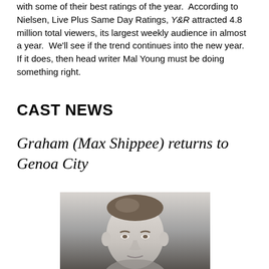with some of their best ratings of the year. According to Nielsen, Live Plus Same Day Ratings, Y&R attracted 4.8 million total viewers, its largest weekly audience in almost a year. We'll see if the trend continues into the new year. If it does, then head writer Mal Young must be doing something right.
CAST NEWS
Graham (Max Shippee) returns to Genoa City
[Figure (photo): Black and white headshot photograph of a man]